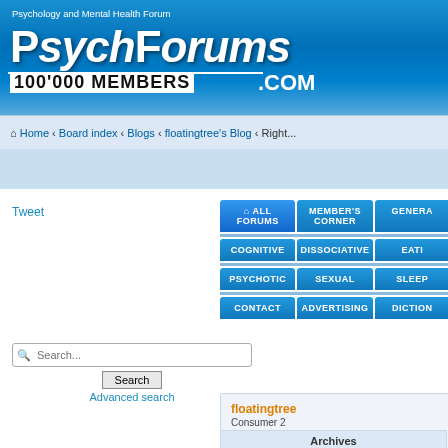[Figure (screenshot): PsychForums.com website header banner with logo, tagline 'Psychology and Mental Health Forum', and '100'000 MEMBERS .COM' text]
Home · Board index · Blogs · floatingtree's Blog · Right...
Tweet
[Figure (screenshot): Navigation menu with ALL FORUMS, Member's CORNER, GENERA, COGNITIVE, DISSOCIATIVE, EATI, PSYCHOTIC, SEXUAL, SLEEP, CONTACT, ADVERTISING, DICTION buttons]
Search...
Search
Advanced search
floatingtree
Consumer 2
consumer
Posts: 42
Joined: Sat Aug 18, 2012 5:39 pm
Blog: View Blog (12)
Archives